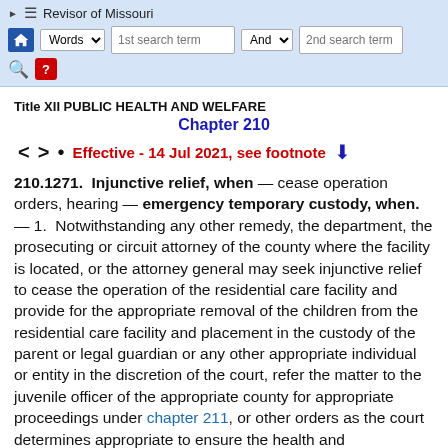Revisor of Missouri
Title XII PUBLIC HEALTH AND WELFARE
Chapter 210
Effective - 14 Jul 2021, see footnote
210.1271. Injunctive relief, when — cease operation orders, hearing — emergency temporary custody, when. — 1. Notwithstanding any other remedy, the department, the prosecuting or circuit attorney of the county where the facility is located, or the attorney general may seek injunctive relief to cease the operation of the residential care facility and provide for the appropriate removal of the children from the residential care facility and placement in the custody of the parent or legal guardian or any other appropriate individual or entity in the discretion of the court, refer the matter to the juvenile officer of the appropriate county for appropriate proceedings under chapter 211, or other orders as the court determines appropriate to ensure the health and